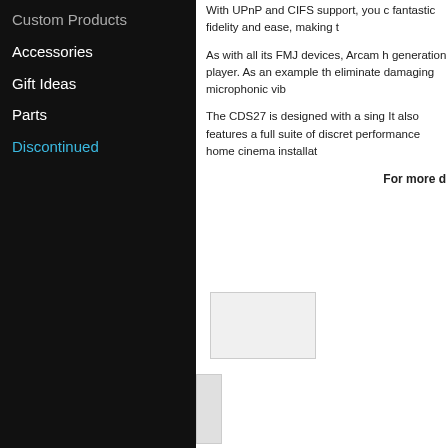Custom Products
Accessories
Gift Ideas
Parts
Discontinued
With UPnP and CIFS support, you c fantastic fidelity and ease, making t
As with all its FMJ devices, Arcam h generation player. As an example th eliminate damaging microphonic vib
The CDS27 is designed with a sing It also features a full suite of discret performance home cinema installat
For more d
[Figure (photo): Large placeholder image, likely product photo]
[Figure (photo): Small placeholder image, likely product thumbnail]